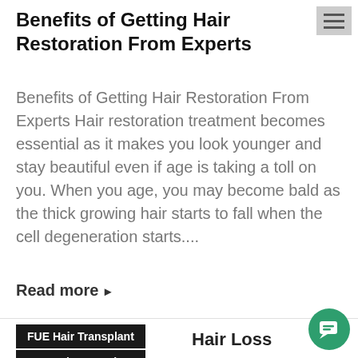Benefits of Getting Hair Restoration From Experts
Benefits of Getting Hair Restoration From Experts Hair restoration treatment becomes essential as it makes you look younger and stay beautiful even if age is taking a toll on you. When you age, you may become bald as the thick growing hair starts to fall when the cell degeneration starts....
Read more ▸
FUE Hair Transplant
FUT Hair Transplant
Hair Loss